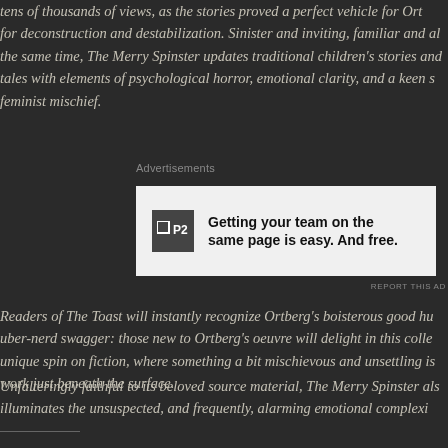tens of thousands of views, as the stories proved a perfect vehicle for Ort for deconstruction and destabilization. Sinister and inviting, familiar and al the same time, The Merry Spinster updates traditional children's stories and tales with elements of psychological horror, emotional clarity, and a keen s feminist mischief.
[Figure (other): Advertisement banner for P2: 'Getting your team on the same page is easy. And free.']
Readers of The Toast will instantly recognize Ortberg's boisterous good hu uber-nerd swagger: those new to Ortberg's oeuvre will delight in this colle unique spin on fiction, where something a bit mischievous and unsettling is work just beneath the surface.
Unfalteringly faithful to its beloved source material, The Merry Spinster als illuminates the unsuspected, and frequently, alarming emotional complexi play in the stories we tell ourselves, and each other, as we tuck ourselves ir night.
Bed time will never be the same.